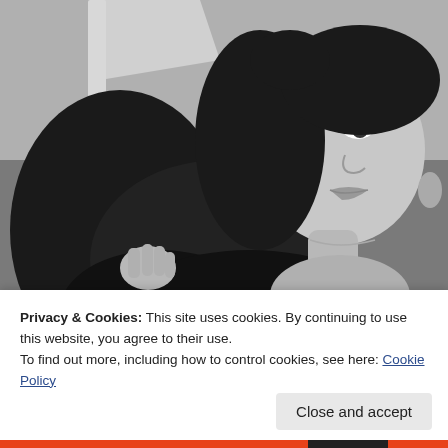[Figure (photo): Black and white selfie photo of a young woman with long dark wavy hair, wearing dark clothing, holding her hair, smiling slightly at the camera.]
Privacy & Cookies: This site uses cookies. By continuing to use this website, you agree to their use.
To find out more, including how to control cookies, see here: Cookie Policy
Close and accept